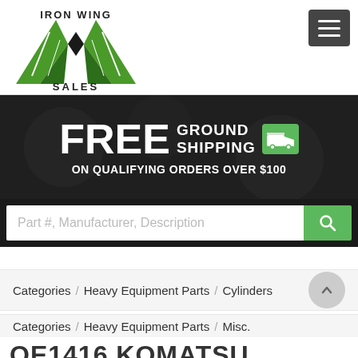[Figure (logo): Iron Wing Sales logo with green wing/arrow shapes and company name]
[Figure (screenshot): Hamburger menu button (three horizontal lines) on dark background]
[Figure (infographic): FREE GROUND SHIPPING ON QUALIFYING ORDERS OVER $100 banner with truck icon on dark background]
Part #, Manufacturer, Description
Categories / Heavy Equipment Parts / Cylinders
Categories / Heavy Equipment Parts / Misc.
OE1416 KOMATSU...